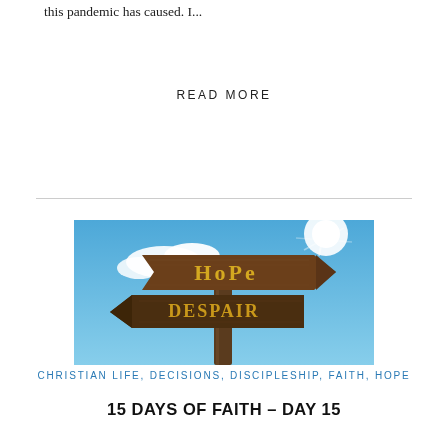this pandemic has caused. I...
READ MORE
[Figure (photo): Wooden directional signpost with two arrow signs against a blue sky with clouds and bright sunlight. The upper arrow points right and reads 'Hope' in gold/yellow letters. The lower arrow points left and reads 'Despair' in gold/yellow letters. The post is brown wood.]
CHRISTIAN LIFE, DECISIONS, DISCIPLESHIP, FAITH, HOPE
15 DAYS OF FAITH – DAY 15